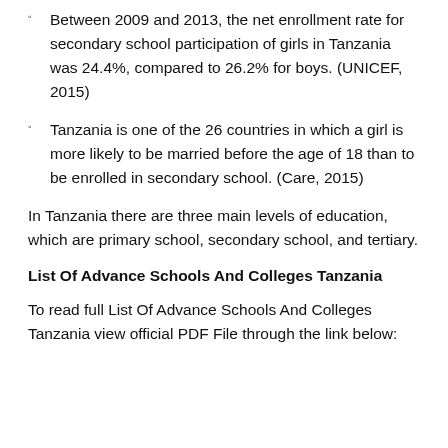Between 2009 and 2013, the net enrollment rate for secondary school participation of girls in Tanzania was 24.4%, compared to 26.2% for boys. (UNICEF, 2015)
Tanzania is one of the 26 countries in which a girl is more likely to be married before the age of 18 than to be enrolled in secondary school. (Care, 2015)
In Tanzania there are three main levels of education, which are primary school, secondary school, and tertiary.
List Of Advance Schools And Colleges Tanzania
To read full List Of Advance Schools And Colleges Tanzania view official PDF File through the link below: